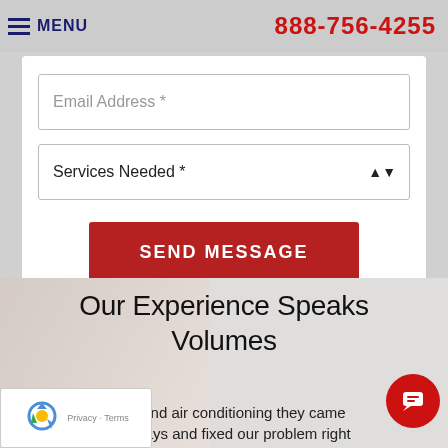MENU   888-756-4255
Email Address *
Services Needed *
SEND MESSAGE
Our Experience Speaks Volumes
called RKM heating and air conditioning they came out within a couple days and fixed our problem right